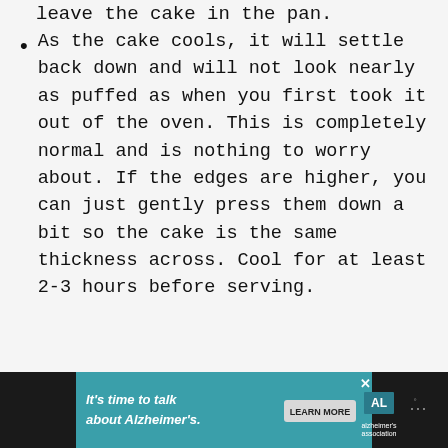leave the cake in the pan.
As the cake cools, it will settle back down and will not look nearly as puffed as when you first took it out of the oven. This is completely normal and is nothing to worry about. If the edges are higher, you can just gently press them down a bit so the cake is the same thickness across. Cool for at least 2-3 hours before serving.
[Figure (infographic): Advertisement banner at the bottom. Dark background with teal/cyan section. Text: 'It's time to talk about Alzheimer's.' with a 'LEARN MORE' button, Alzheimer's Association logo, and WW logo.]